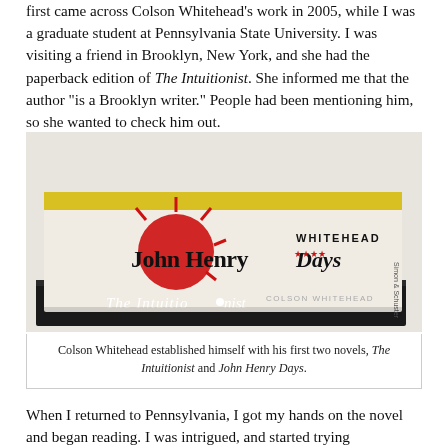first came across Colson Whitehead's work in 2005, while I was a graduate student at Pennsylvania State University. I was visiting a friend in Brooklyn, New York, and she had the paperback edition of The Intuitionist. She informed me that the author "is a Brooklyn writer." People had been mentioning him, so she wanted to check him out.
[Figure (photo): Two stacked books: 'John Henry Days' by Whitehead on top, and 'The Intuitionist' by Colson Whitehead below, photographed against a light background.]
Colson Whitehead established himself with his first two novels, The Intuitionist and John Henry Days.
When I returned to Pennsylvania, I got my hands on the novel and began reading. I was intrigued, and started trying